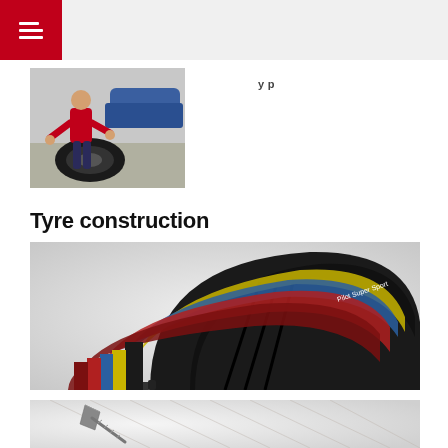[Figure (photo): Person in red shirt working with a tyre in a garage/workshop setting, with a blue car in the background]
Tyre construction
[Figure (illustration): Cut-away cross-section illustration of a Michelin Pilot Super Sport tyre showing multiple internal layers in different colours: black tread, yellow belt, blue belt, red carcass layer, and other structural components]
[Figure (illustration): Partial view of a tyre cross-section showing internal structure with a nail/screw penetrating the tyre, against a grey background]